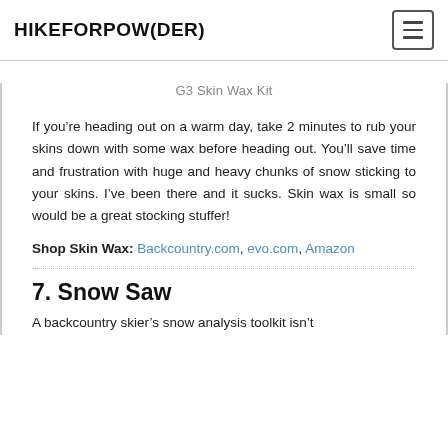HIKEFORPOW(DER)
G3 Skin Wax Kit
If you’re heading out on a warm day, take 2 minutes to rub your skins down with some wax before heading out. You’ll save time and frustration with huge and heavy chunks of snow sticking to your skins. I’ve been there and it sucks. Skin wax is small so would be a great stocking stuffer!
Shop Skin Wax: Backcountry.com, evo.com, Amazon
7. Snow Saw
A backcountry skier’s snow analysis toolkit isn’t